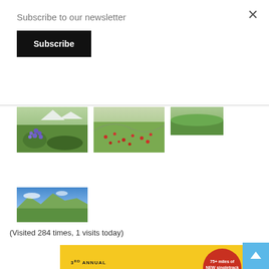Subscribe to our newsletter
Subscribe
[Figure (photo): Purple wildflowers on a green hillside mountain landscape]
[Figure (photo): Red wildflowers scattered across a hillside trail]
[Figure (photo): Green valley hillside landscape thumbnail]
[Figure (photo): Panoramic mountain landscape with blue sky]
(Visited 284 times, 1 visits today)
[Figure (infographic): 3rd Annual Caliente MTB Fest advertisement — September 16th-18th, Food, raffles, shuttles, vendors & more. 75+ miles of NEW singletrack since last year!]